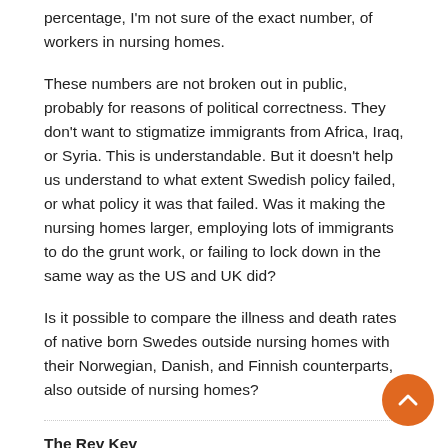percentage, I'm not sure of the exact number, of workers in nursing homes.
These numbers are not broken out in public, probably for reasons of political correctness. They don't want to stigmatize immigrants from Africa, Iraq, or Syria. This is understandable. But it doesn't help us understand to what extent Swedish policy failed, or what policy it was that failed. Was it making the nursing homes larger, employing lots of immigrants to do the grunt work, or failing to lock down in the same way as the US and UK did?
Is it possible to compare the illness and death rates of native born Swedes outside nursing homes with their Norwegian, Danish, and Finnish counterparts, also outside of nursing homes?
The Rev Kev
March 12, 2021 at 4:29 am
There's something rotten in the State of Sweden. Their neoliberal regime tried to control the virus and to keep the economy open. They tried to have the best of both worlds and ended up with the worst of both, which is to say Att...